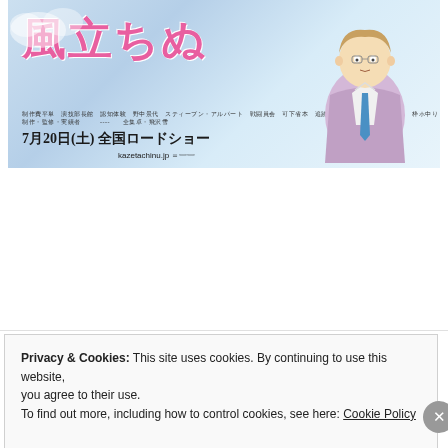[Figure (illustration): Japanese movie poster for 'Kaze Tachinu' (The Wind Rises) with pink Japanese characters, anime character in lavender suit with blue tie, and movie release information '7月20日(土) 全国ロードショー kazetachinu.jp']
Film News!
JUNE 7, 2013 / LEAVE A COMMENT
http://www.deadline.com/2013/06/tom-hardy-to-play-the-outsider-with-japanese-helmer-takashi-
Privacy & Cookies: This site uses cookies. By continuing to use this website, you agree to their use.
To find out more, including how to control cookies, see here: Cookie Policy
Close and accept